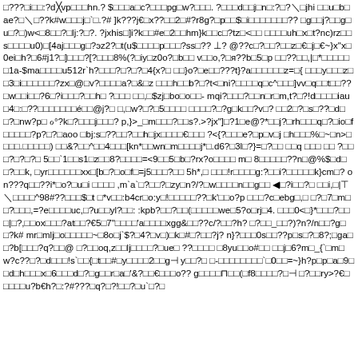□???□i□□:?d╳vp□□□hn.? $□□□a□c?□□□pg□w?□□□. ?□□□d□□j□n□:?□?\□jhi □□u□b□ae?□\□??k#w□□□j□`□.?# ]k???j€□x??□□2□#?r8g?□p□□$□i□□□□□□□?? □g□□j?□□g□u□?□)w<□8□□?□lj:?□?. ?jxhis□]i?k□□#e□2□□hm}k□□c□?tz□<□□ □□□□uh□x□t?nc)rz□□s□□□□u0)□[4aj□□□g□?эz2?□t(u$□□□□p□□□?ss□?? ⊥? @??c□?□□?□□z□€□j□€~}x"x□0ei□h?□6#j1?□]□□□?[?□□□8%(?□iy□z0o?□b□□ v□□o,?□я??b□5□p □□??□□,|□*□□□□□□1a-$ma□□□□u512r`h?□□□?□?□?□4{x?□ □□}o?□e□□???t}?a□□□□□□z=□{ □□□y□□□z□□3□i□□□□□□?zx□@□v?□□□□a?□&□z □□□h□□b?□?t<□ni?□□□□q□c^□□□]vv□q□□t□□??□w□□i□□?6□?i□□□?□□h□ ?□□□ □□,□$zj□bo□o□□- mqi?□□□?□□n□r□m,t?□?!d□□□□iau□4□:□??□□□□□□□é□□@j?□ □,□w?□?□5□□□□ □□□□?□?g□k□□?v□? □□2□?□s□??□d□□?□nw?p□ ℴ°?k□?□□□j□□□? p,}>_□m□□□?□□s?.>?jx"]□?1□e@?*□□j?□rh□□□q□?□io□f□□□□□?p?□?□aoo □bj:s□??□□?□□h□jx□□□□€□□□ ?<{?□□□e?□p□v□j □h□□□%□~□n>□□□□.□□□□□) □□&?□□^□□4□□□[kn*□□wn□m□□□□j*□.d6?□3l□?}=□?□□ □□q □□□ □□ ?□□□?□?□?□ 5□□`1□□s1□z□□8?□□□□=<9□□5□b□?rx?o□□□□ m□ 8□□□□□??n□@%$□d□□?□□k, □yr□□□□□□xx□[b□?□o□f□=j5□□□?□□ 5h*,□ □□□!r□□□□g:?□□i?□□□□□k}cm□? on???q□□??i*□o?□u□i □□□□ ,m`a`□?□□?□zy□n?/?□w□□□□n□□g□□ ◀□?i□□?□ □□i,□|⊤\□□□□^98#??□□□$□t □*v□□:b4cr□o:y□!□□□□□??□k'□□o?p □□□?c□ebg□,□ □?□7□m□□?□□□,=?e□□□□uc,□?u□□yl?□□: :kpb?□□?□□(□□□□□we□5?o□rj□4. □□□0<□}*□□□?□□ □|□?,□□ox□□□?at□□?€5□7"□□□□'a□□□□xgg&□□??c/?□□?h? □?□□_□□?)?n?/n□□?g□□?k# mr□mlj□o□□□□□~□8o□j`$?□4?□v□)□k□#□?□□?j? n}?□□□0s□□??p□s□?□8?;□ga□□?b[□□□?q?□□@ □?□□oq,z□□lj□□□□?□ue□ ??□□□□ □8yu□□o#□□ □□j□6?m□_{`□m□w?c??□?□d□□□!s`□□{□t□□#□y□□□□2□□g⊣ y□□?□ □-□□□□□□□□`□0□□=~}h?p□p□a□9□□d□h□□□x□6□□□d□?□g□□r□a□'&?□□€□□□o?? g□□□□⊓□□(□f8□□□□?□⊣ □?□□ry>?€□□□□□u?b€h?□:?#???□q?□?!□□?□u`□?□